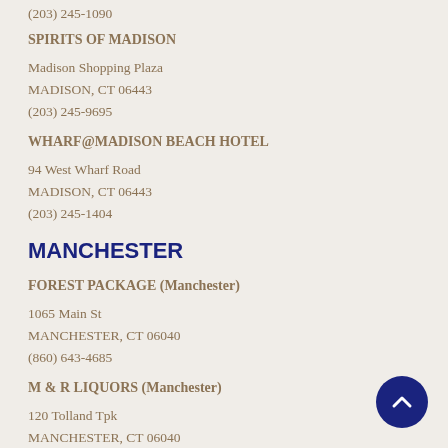(203) 245-1090
SPIRITS OF MADISON
Madison Shopping Plaza
MADISON, CT 06443
(203) 245-9695
WHARF@MADISON BEACH HOTEL
94 West Wharf Road
MADISON, CT 06443
(203) 245-1404
MANCHESTER
FOREST PACKAGE (Manchester)
1065 Main St
MANCHESTER, CT 06040
(860) 643-4685
M & R LIQUORS (Manchester)
120 Tolland Tpk
MANCHESTER, CT 06040
(860) 643-9014